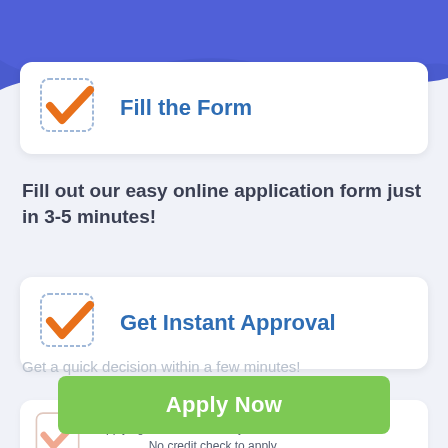[Figure (illustration): Blue wave background header with curved bottom edge]
Fill the Form
Fill out our easy online application form just in 3-5 minutes!
Get Instant Approval
Get a quick decision within a few minutes!
Apply Now
Applying does NOT affect your credit score! No credit check to apply.